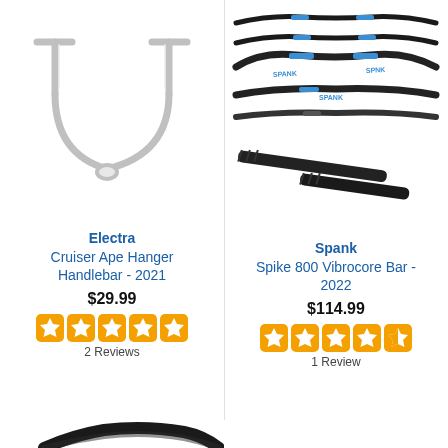[Figure (photo): Electra Cruiser Ape Hanger Handlebar - chrome/silver ape hanger style bicycle handlebar on white background]
Electra
Cruiser Ape Hanger Handlebar - 2021
$29.99
[Figure (infographic): 5 orange star rating icons]
2 Reviews
[Figure (photo): Spank Spike 800 Vibrocore Bar - multiple black mountain bike handlebars with blue accents shown in different rise configurations, plus two straight bar pieces]
Spank
Spike 800 Vibrocore Bar - 2022
$114.99
[Figure (infographic): 4.5 orange star rating icons]
1 Review
[Figure (photo): Partial view of a black bicycle handlebar at bottom of page]